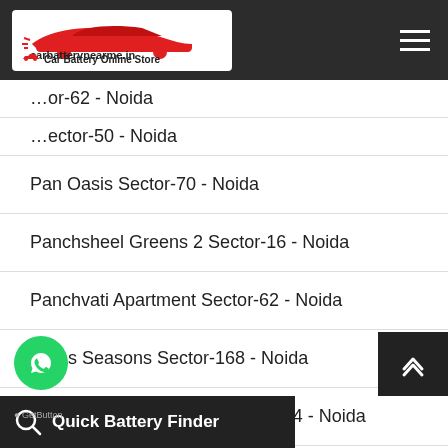carbatterynearme.in - Car Battery Online Store
Pan Oasis Sector-70 - Noida
Panchsheel Greens 2 Sector-16 - Noida
Panchvati Apartment Sector-62 - Noida
Paras Seasons Sector-168 - Noida
Pearls Gateway Tower Sector-144 - Noida
…0 Apartment Sector-62 - Noida
…da
Quick Battery Finder